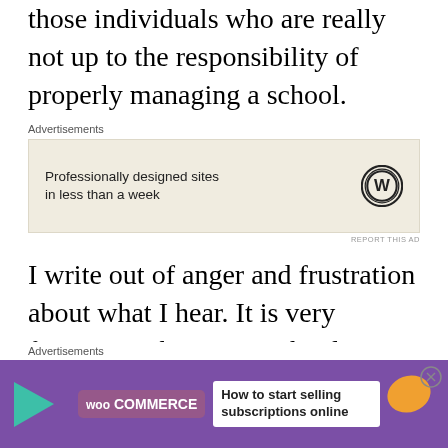those individuals who are really not up to the responsibility of properly managing a school.
[Figure (other): WordPress advertisement: 'Professionally designed sites in less than a week' with WordPress logo]
I write out of anger and frustration about what I hear. It is very frustrating that some school administrators are allowed to act with impunity, secure in the knowledge that their authority will not be questioned and
[Figure (other): WooCommerce advertisement: 'How to start selling subscriptions online']